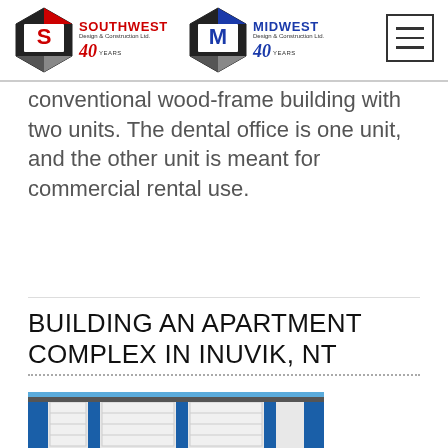[Figure (logo): Southwest Design & Construction Ltd. 40 Years logo and Midwest Design & Construction Ltd. 40 Years logo side by side in page header]
conventional wood-frame building with two units. The dental office is one unit, and the other unit is meant for commercial rental use.
BUILDING AN APARTMENT COMPLEX IN INUVIK, NT
[Figure (photo): Photo of a blue and white modern building exterior with large garage-style doors against a blue sky]